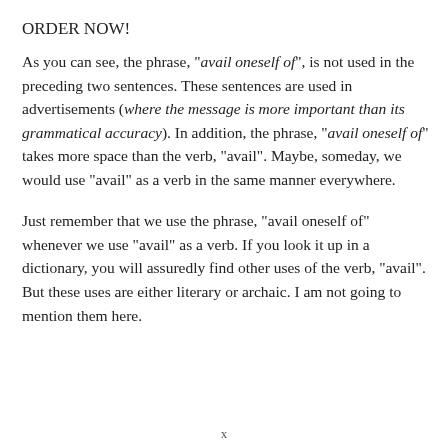ORDER NOW!
As you can see, the phrase, "avail oneself of", is not used in the preceding two sentences. These sentences are used in advertisements (where the message is more important than its grammatical accuracy). In addition, the phrase, "avail oneself of" takes more space than the verb, "avail". Maybe, someday, we would use "avail" as a verb in the same manner everywhere.
Just remember that we use the phrase, "avail oneself of" whenever we use "avail" as a verb. If you look it up in a dictionary, you will assuredly find other uses of the verb, "avail". But these uses are either literary or archaic. I am not going to mention them here.